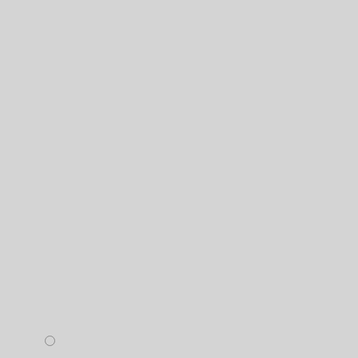[Figure (screenshot): Screenshot showing a red-to-black gradient background with geometric/grid lines, framed with a blue border. Appears to be a software installer custom design preview.]
Do not hesitate and visit the official page wher...
Cool looking installers with custom design: w...
Create Setup Pages easily: www.install-desig...
Build installers in Visual Studio 2005-2022: w...
or RAD Studio 2009 - 11 Alexandria: www.ra...